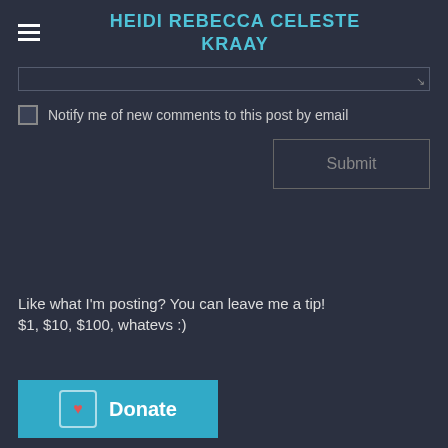HEIDI REBECCA CELESTE KRAAY
Notify me of new comments to this post by email
Submit
Like what I'm posting? You can leave me a tip!
$1, $10, $100, whatevs :)
Donate